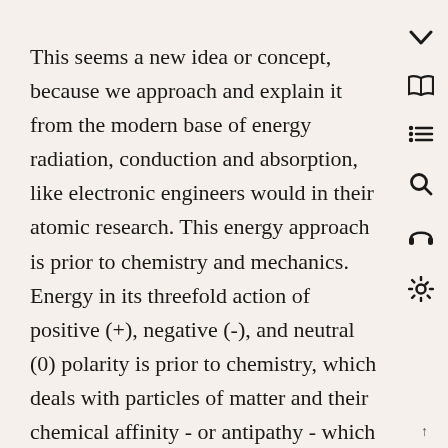This seems a new idea or concept, because we approach and explain it from the modern base of energy radiation, conduction and absorption, like electronic engineers would in their atomic research. This energy approach is prior to chemistry and mechanics. Energy in its threefold action of positive (+), negative (-), and neutral (0) polarity is prior to chemistry, which deals with particles of matter and their chemical affinity - or antipathy - which can result in new combinations or in an explosion of gases.
We are still overly fascinated with the mechanical, chemical, and bacteriological aspects of matter in all our research in the